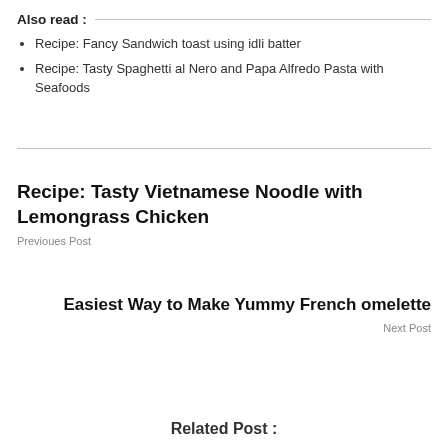Also read :
Recipe: Fancy Sandwich toast using idli batter
Recipe: Tasty Spaghetti al Nero and Papa Alfredo Pasta with Seafoods
Recipe: Tasty Vietnamese Noodle with Lemongrass Chicken
Previoues Post
Easiest Way to Make Yummy French omelette
Next Post
Related Post :